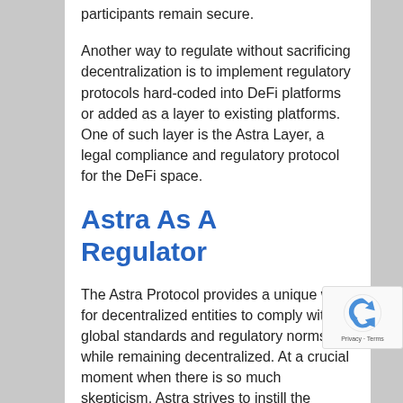participants remain secure.
Another way to regulate without sacrificing decentralization is to implement regulatory protocols hard-coded into DeFi platforms or added as a layer to existing platforms. One of such layer is the Astra Layer, a legal compliance and regulatory protocol for the DeFi space.
Astra As A Regulator
The Astra Protocol provides a unique way for decentralized entities to comply with global standards and regulatory norms while remaining decentralized. At a crucial moment when there is so much skepticism, Astra strives to instill the